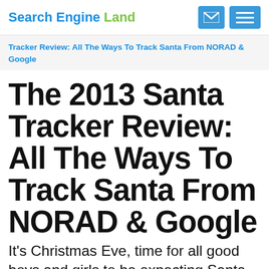Search Engine Land
Tracker Review: All The Ways To Track Santa From NORAD & Google
The 2013 Santa Tracker Review: All The Ways To Track Santa From NORAD & Google
It's Christmas Eve, time for all good boys and girls to be expecting Santa Claus to